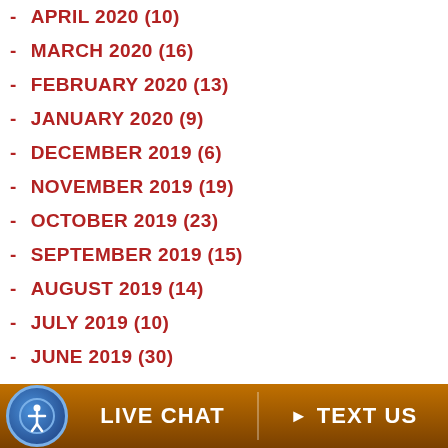- APRIL 2020 (10)
- MARCH 2020 (16)
- FEBRUARY 2020 (13)
- JANUARY 2020 (9)
- DECEMBER 2019 (6)
- NOVEMBER 2019 (19)
- OCTOBER 2019 (23)
- SEPTEMBER 2019 (15)
- AUGUST 2019 (14)
- JULY 2019 (10)
- JUNE 2019 (30)
- MAY 2019 (21)
- APRIL 2019 (21)
- MARCH 2019 (11)
- FEBRUARY 2019 (17)
- JANUARY 2019 (16)
- DECEMBER 2018 (11)
LIVE CHAT  TEXT US